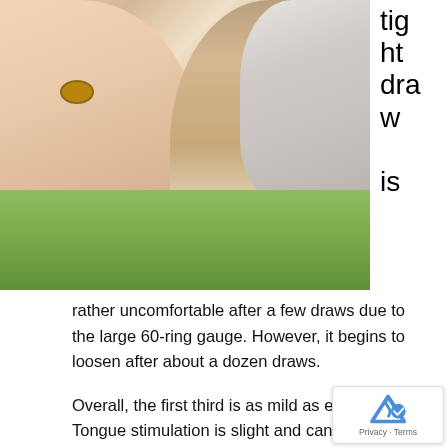[Figure (photo): Close-up photo of a hand holding a large cigar with ash on the tip, green shrubs visible in background. To the right of the photo, text reads 'tight draw is']
tight draw is rather uncomfortable after a few draws due to the large 60-ring gauge. However, it begins to loosen after about a dozen draws.
Overall, the first third is as mild as expected. Tongue stimulation is slight and can be felt on the front and lateral sections of the palate. Meanwhile, the texture is quite creamy and thick. However, the flavours are subtle and may be even bland during the first inch.
Once this inch has passed, the Daytona develops an overt cedar note accompanied by a hint of toasted